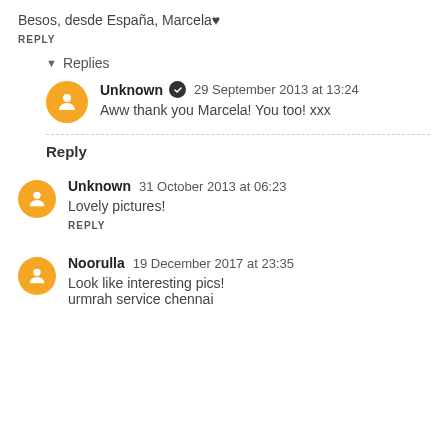Besos, desde España, Marcela♥
REPLY
Replies
Unknown  29 September 2013 at 13:24
Aww thank you Marcela! You too! xxx
Reply
Unknown  31 October 2013 at 06:23
Lovely pictures!
REPLY
Noorulla  19 December 2017 at 23:35
Look like interesting pics!
urmrah service chennai